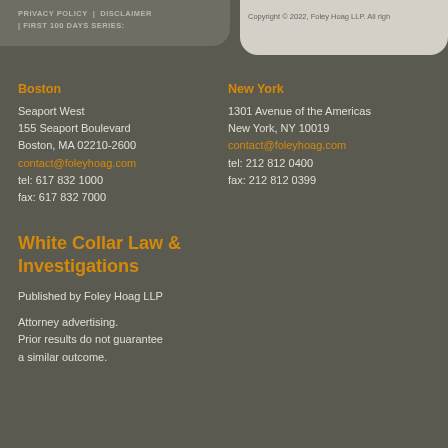PRIVACY POLICY | DISCLAIMER | FIRST 100 DAYS SERIES:
Copyright © 2022, Foley Hoag LLP. All rights reserved.
Boston
Seaport West
155 Seaport Boulevard
Boston, MA 02210-2600
contact@foleyhoag.com
tel: 617 832 1000
fax: 617 832 7000
New York
1301 Avenue of the Americas
New York, NY 10019
contact@foleyhoag.com
tel: 212 812 0400
fax: 212 812 0399
White Collar Law & Investigations
Published by Foley Hoag LLP
Attorney advertising.
Prior results do not guarantee a similar outcome.